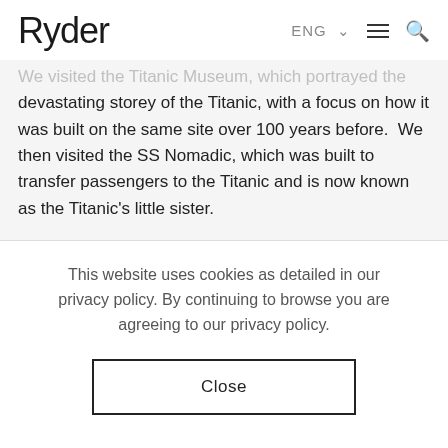Ryder  ENG  ☰  🔍
We visited the Titanic Museum, which portrayed the devastating storey of the Titanic, with a focus on how it was built on the same site over 100 years before.  We then visited the SS Nomadic, which was built to transfer passengers to the Titanic and is now known as the Titanic's little sister.
This website uses cookies as detailed in our privacy policy. By continuing to browse you are agreeing to our privacy policy.
Close